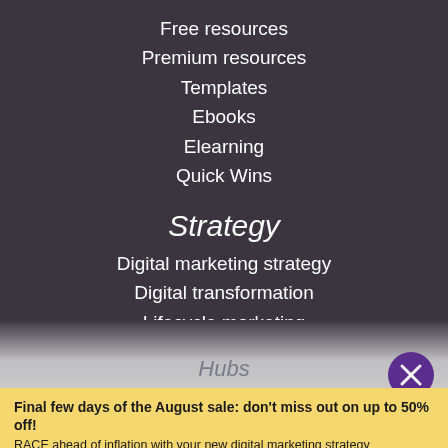Free resources
Premium resources
Templates
Ebooks
Elearning
Quick Wins
Strategy
Digital marketing strategy
Digital transformation
Lifecycle marketing
Agency growth
Managing digital teams
RACE Planning framework
Hubs
Final few days of the August sale: don't miss out on up to 50% off!
RACE ahead of inflation with your new digital marketing strategy